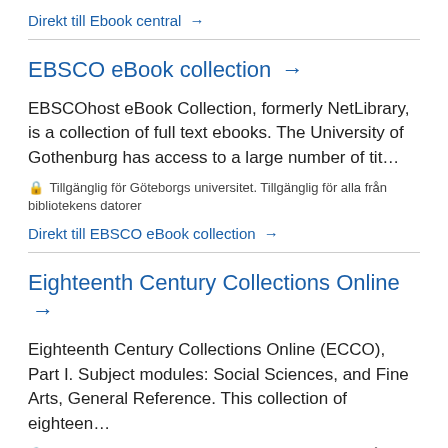Direkt till Ebook central →
EBSCO eBook collection →
EBSCOhost eBook Collection, formerly NetLibrary, is a collection of full text ebooks. The University of Gothenburg has access to a large number of tit…
🔒 Tillgänglig för Göteborgs universitet. Tillgänglig för alla från bibliotekens datorer
Direkt till EBSCO eBook collection →
Eighteenth Century Collections Online →
Eighteenth Century Collections Online (ECCO), Part I. Subject modules: Social Sciences, and Fine Arts, General Reference. This collection of eighteen…
🔒 Tillgänglig för Göteborgs universitet. Tillgänglig för alla från